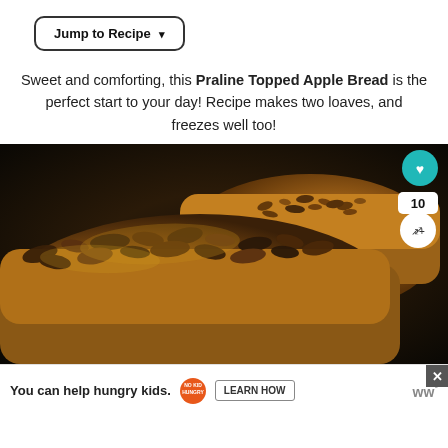Jump to Recipe ▾
Sweet and comforting, this Praline Topped Apple Bread is the perfect start to your day! Recipe makes two loaves, and freezes well too!
[Figure (photo): Close-up photo of praline topped apple bread loaves with chopped pecans and caramel topping, dark background, with heart and share buttons overlay]
You can help hungry kids. NO KID HUNGRY LEARN HOW